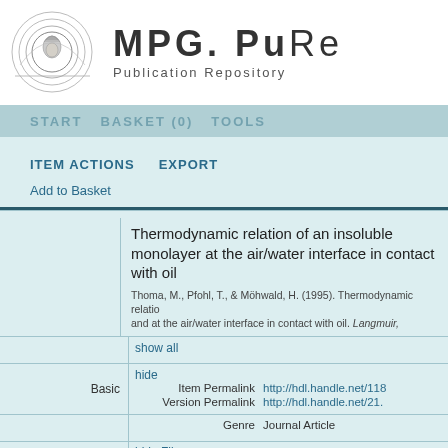[Figure (logo): MPG.PuRe Publication Repository logo with Minerva head in circular design]
MPG. PuRe Publication Repository
START   BASKET (0)   TOOLS
ITEM ACTIONS   EXPORT
Add to Basket
Thermodynamic relation of an insoluble monolayer at the air/water interface in contact with oil
Thoma, M., Pfohl, T., & Möhwald, H. (1995). Thermodynamic relation of an insoluble monolayer at and at the air/water interface in contact with oil. Langmuir,
show all
Basic
hide
Item Permalink
http://hdl.handle.net/118...
Version Permalink
http://hdl.handle.net/21...
Genre
Journal Article
Files
hide Files